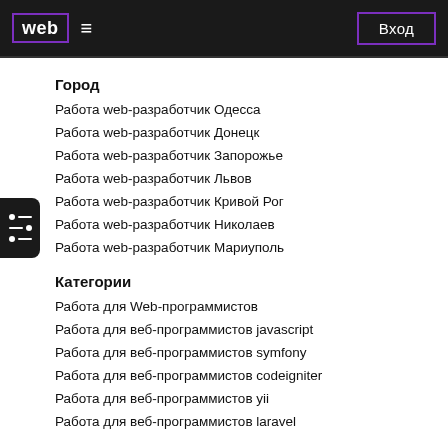web  ≡  Вход
Город
Работа web-разработчик Одесса
Работа web-разработчик Донецк
Работа web-разработчик Запорожье
Работа web-разработчик Львов
Работа web-разработчик Кривой Рог
Работа web-разработчик Николаев
Работа web-разработчик Мариуполь
Категории
Работа для Web-программистов
Работа для веб-программистов javascript
Работа для веб-программистов symfony
Работа для веб-программистов codeigniter
Работа для веб-программистов yii
Работа для веб-программистов laravel